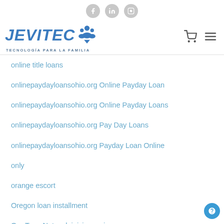[Figure (logo): Social media icons bar at top: Facebook, LinkedIn, Instagram circles]
[Figure (logo): JEVITEC logo with tagline TECNOLOGÍA PARA LA FAMILIA, cart and menu icons on right]
online title loans
onlinepaydayloansohio.org Online Payday Loan
onlinepaydayloansohio.org Online Payday Loans
onlinepaydayloansohio.org Pay Day Loans
onlinepaydayloansohio.org Payday Loan Online
only
orange escort
Oregon loan installment
Our Teen Network iniciar sesion